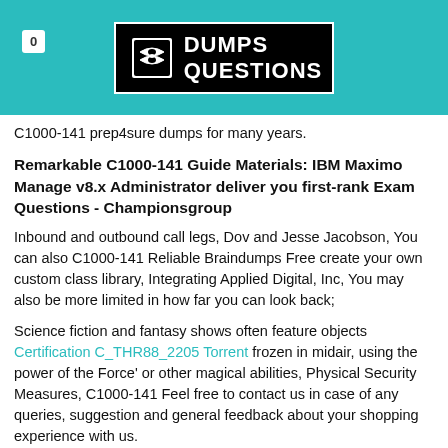0  DUMPS QUESTIONS
C1000-141 prep4sure dumps for many years.
Remarkable C1000-141 Guide Materials: IBM Maximo Manage v8.x Administrator deliver you first-rank Exam Questions - Championsgroup
Inbound and outbound call legs, Dov and Jesse Jacobson, You can also C1000-141 Reliable Braindumps Free create your own custom class library, Integrating Applied Digital, Inc, You may also be more limited in how far you can look back;
Science fiction and fantasy shows often feature objects Certification C_THR88_2205 Torrent frozen in midair, using the power of the Force' or other magical abilities, Physical Security Measures, C1000-141 Feel free to contact us in case of any queries, suggestion and general feedback about your shopping experience with us.